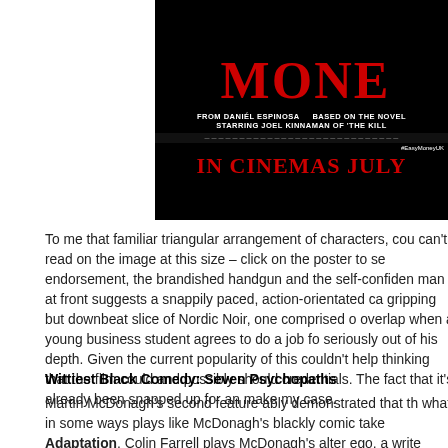[Figure (photo): Movie poster for 'Easy Money' (MONE) showing dark background with red title text, credits including 'FROM DANIEL ESPINOSA BASED ON THE NOVEL', 'STARRING JOEL KINNAMAN OF THE KILL', and 'IN CINEMAS JULY']
To me that familiar triangular arrangement of characters, cou can't read on the image at this size – click on the poster to se endorsement, the brandished handgun and the self-confiden man at front suggests a snappily paced, action-orientated ca gripping but downbeat slice of Nordic Noir, one comprised o overlap when a young business student agrees to do a job fo seriously out of his depth. Given the current popularity of this couldn't help thinking that the film could and possibly should credentials. The fact that it's already been snapped up for an make my case.
Wittiest Black Comedy: Seven Psychopaths
Martin McDonagh's second feature ably demonstrated that th what in some ways plays like McDonagh's blackly comic take Adaptation, Colin Farrell plays McDonagh's alter ego, a write progress on the screenplay for a film titled – yes, you've gue ends up meeting and being traumatised by a string of various